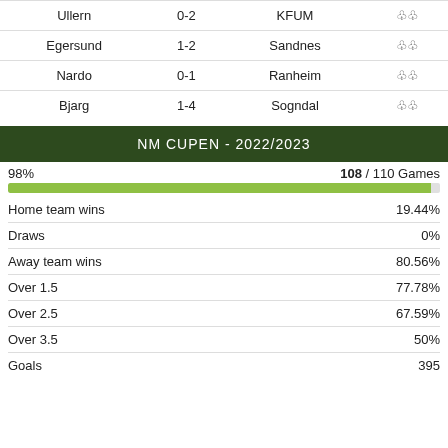| Home | Score | Away | Icon |
| --- | --- | --- | --- |
| Ullern | 0-2 | KFUM |  |
| Egersund | 1-2 | Sandnes |  |
| Nardo | 0-1 | Ranheim |  |
| Bjarg | 1-4 | Sogndal |  |
NM CUPEN - 2022/2023
98%  108 / 110 Games
| Stat | Value |
| --- | --- |
| Home team wins | 19.44% |
| Draws | 0% |
| Away team wins | 80.56% |
| Over 1.5 | 77.78% |
| Over 2.5 | 67.59% |
| Over 3.5 | 50% |
| Goals | 395 |